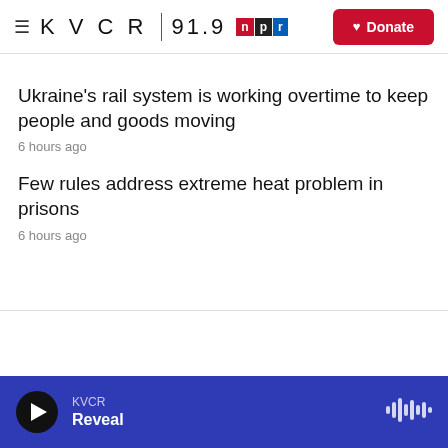KVCR 91.9 NPR Donate
Ukraine's rail system is working overtime to keep people and goods moving
6 hours ago
Few rules address extreme heat problem in prisons
6 hours ago
KVCR Reveal